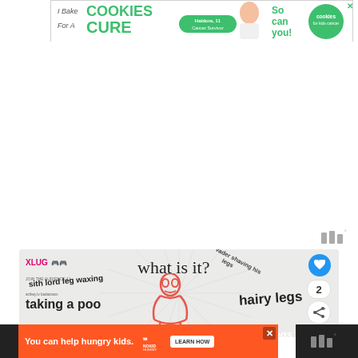[Figure (photo): Advertisement banner: 'I Bake COOKIES For A CURE' with a girl photo, Haldora 11 Cancer Survivor badge, cookies for kids cancer logo, and 'So can you!' text]
[Figure (screenshot): White blank space area in middle of page]
[Figure (logo): Widget icon (three vertical bars with degree symbol) in lower right of white area]
[Figure (screenshot): XLUG content panel with 'what is it?' heading and word cloud: 'sith lord leg waxing', 'darth vader shaving his legs', 'hairy legs', 'taking a poo', with red cartoon figure. Heart button showing 2, share button.]
[Figure (photo): Advertisement banner: 'You can help hungry kids.' No Kid Hungry logo, LEARN HOW button, orange background]